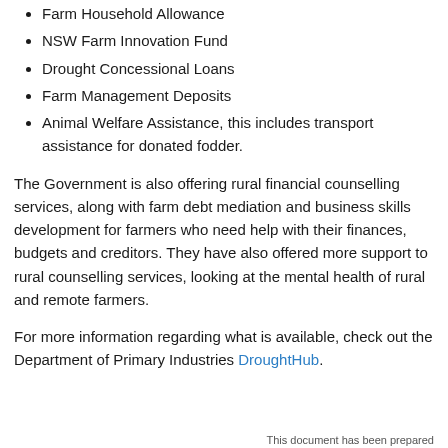Farm Household Allowance
NSW Farm Innovation Fund
Drought Concessional Loans
Farm Management Deposits
Animal Welfare Assistance, this includes transport assistance for donated fodder.
The Government is also offering rural financial counselling services, along with farm debt mediation and business skills development for farmers who need help with their finances, budgets and creditors. They have also offered more support to rural counselling services, looking at the mental health of rural and remote farmers.
For more information regarding what is available, check out the Department of Primary Industries DroughtHub.
This document has been prepared